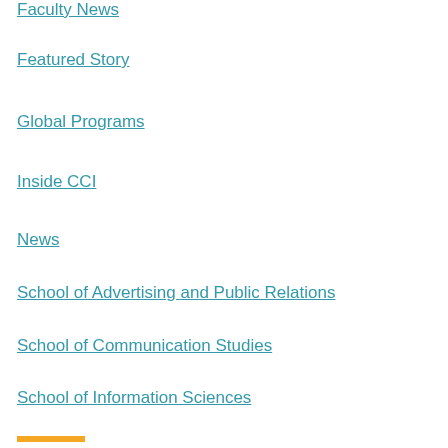Faculty News
Featured Story
Global Programs
Inside CCI
News
School of Advertising and Public Relations
School of Communication Studies
School of Information Sciences
School of Journalism and Electronic Media
Student News